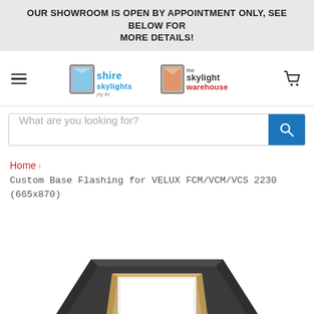OUR SHOWROOM IS OPEN BY APPOINTMENT ONLY, SEE BELOW FOR MORE DETAILS!
[Figure (logo): Shire Skylights and The Skylight Warehouse dual logo with skylight window graphics and navigation hamburger menu and cart icon]
What are you looking for?
Home > Custom Base Flashing for VELUX FCM/VCM/VCS 2230 (665x870)
[Figure (photo): Custom base flashing product photo showing a dark grey square flashing frame with wooden inner frame against white background, viewed from above at an angle]